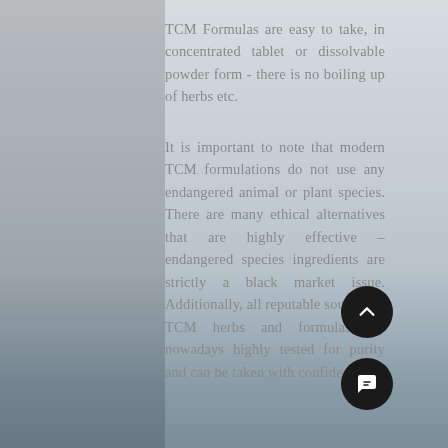TCM Formulas are easy to take, in concentrated tablet or dissolvable powder form - there is no boiling up of herbs etc.
It is important to note that modern TCM formulations do not use any endangered animal or plant species. There are many ethical alternatives that are highly effective – endangered species ingredients are strictly a black market issue. Additionally, all reputable sources of TCM herbs and formulas are nowadays highly tested for purity and can be taken with confidence.
[Figure (other): Scroll-to-top button (dark circle with upward chevron arrow)]
[Figure (other): Chat button (dark circle with speech bubble / message icon)]